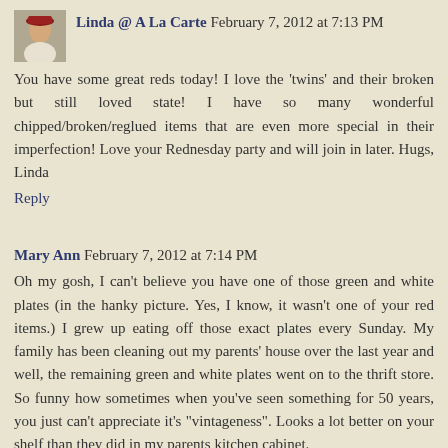[Figure (photo): Small avatar photo of a person wearing a red hat, in a square thumbnail]
Linda @ A La Carte February 7, 2012 at 7:13 PM
You have some great reds today! I love the 'twins' and their broken but still loved state! I have so many wonderful chipped/broken/reglued items that are even more special in their imperfection! Love your Rednesday party and will join in later. Hugs, Linda
Reply
Mary Ann February 7, 2012 at 7:14 PM
Oh my gosh, I can't believe you have one of those green and white plates (in the hanky picture. Yes, I know, it wasn't one of your red items.) I grew up eating off those exact plates every Sunday. My family has been cleaning out my parents' house over the last year and well, the remaining green and white plates went on to the thrift store. So funny how sometimes when you've seen something for 50 years, you just can't appreciate it's "vintageness". Looks a lot better on your shelf than they did in my parents kitchen cabinet.
Reply